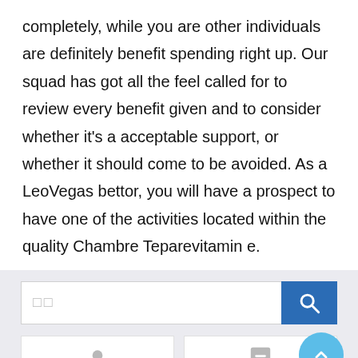completely, while you are other individuals are definitely benefit spending right up. Our squad has got all the feel called for to review every benefit given and to consider whether it's a acceptable support, or whether it should come to be avoided. As a LeoVegas bettor, you will have a prospect to have one of the activities located within the quality Chambre Teparevitamin e.
[Figure (screenshot): A search bar with a text input field showing two small square placeholder characters and a blue search button with a magnifying glass icon on the right. Below is a light gray background section with two white card panels partially visible at the bottom, each with a gray icon.]